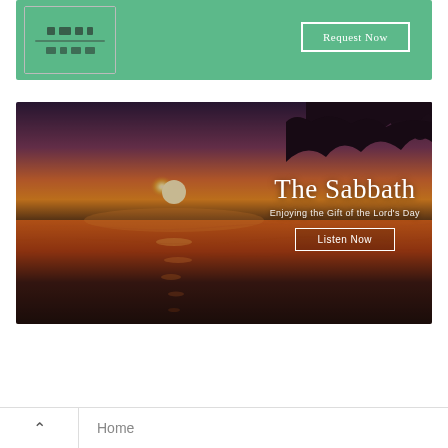[Figure (screenshot): Green banner with a device/tablet mockup on the left and a 'Request Now' button outlined in white on the right]
[Figure (photo): Sunset over water with silhouette of trees; overlay text reads 'The Sabbath', 'Enjoying the Gift of the Lord's Day', and a 'Listen Now' button]
Home